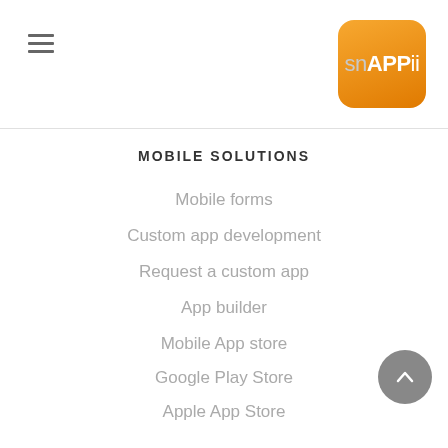Snappii navigation header with hamburger menu and logo
MOBILE SOLUTIONS
Mobile forms
Custom app development
Request a custom app
App builder
Mobile App store
Google Play Store
Apple App Store
ABOUT SNAPPII
Press releases